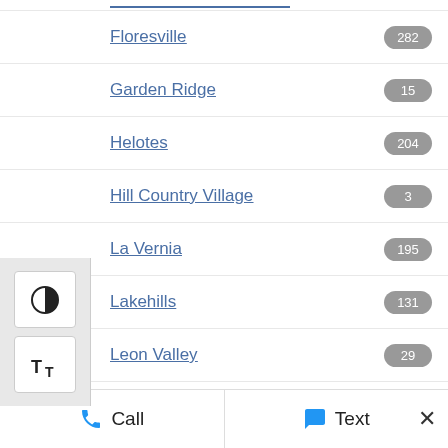Floresville
Garden Ridge
Helotes
Hill Country Village
La Vernia
Lakehills
Leon Valley
Live Oak
Mico
New Braunfels
Olmos Park
San Antonio
Schertz
Seguin
Selma
Call  Text